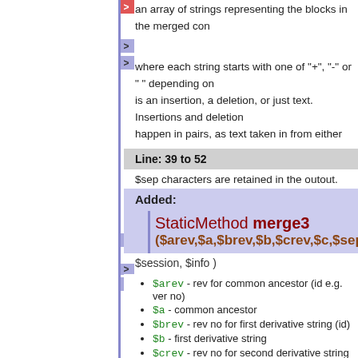an array of strings representing the blocks in the merged con... where each string starts with one of "+", "-" or " " depending on whether it is an insertion, a deletion, or just text. Insertions and deletions happen in pairs, as text taken in from either
Line: 39 to 52
$sep characters are retained in the outout.
Added:
StaticMethod merge3 ($arev,$a,$brev,$b,$crev,$c,$sep, $session, $info )
$arev - rev for common ancestor (id e.g. ver no)
$a - common ancestor
$brev - rev no for first derivative string (id)
$b - first derivative string
$crev - rev no for second derivative string (id)
$c - second derivative string